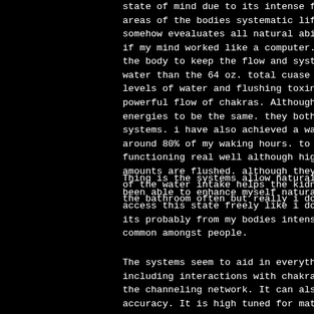state of mind due to its intense focus and abil areas of the bodies systematic life. I call thi somehow evealuates all natural abilities of the if my mind worked like a computer. I drink wate the body to keep the flow and systems energized water than the 64 oz. total cuase my body gradu levels of water and flushing toxins at just the powerful flow of chakras. Although i tend to th energies to be the same. they both use up stami systems. i have also achieved a water intake ofe around 80% of my waking hours. to me I'm fine w functioning real well although high water doesn amounts are flushed. although they are it's sti of the water intake helps the kidneys. But also the bathroom often but really i don't want to g
Thing is the systems allow natural flowing cont been able to enhance myself naturally using con access this state freely like i do is still unk its probably from my bodies intense levels of c common amongst people.
The systems seem to aid in everything that come including interactions with chakra flow points the channeling network. It can also calculate e accuracy. It is high tuned for mathematics and